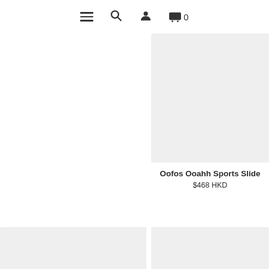Navigation bar with menu, search, user, and cart (0) icons
[Figure (photo): Product image placeholder — light grey square for Oofos Ooahh Sports Slide]
Oofos Ooahh Sports Slide
$468 HKD
[Figure (photo): Product image placeholder — light grey square, bottom-left card]
[Figure (photo): Product image placeholder — light grey square, bottom-right card]